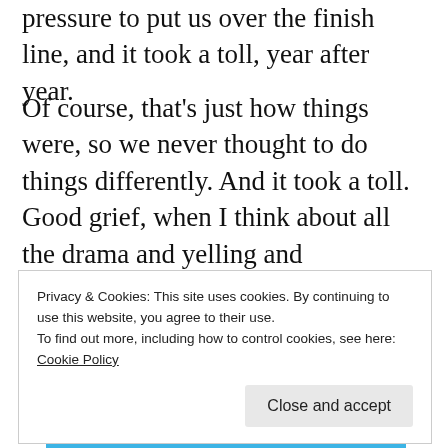pressure to put us over the finish line, and it took a toll, year after year.
Of course, that’s just how things were, so we never thought to do things differently. And it took a toll. Good grief, when I think about all the drama and yelling and frustration… and how my spouse and I just took that for granted… I’m glad things are different now.
[Figure (screenshot): Blue banner with white italic text reading 'app you’ll ever need.' with decorative star elements]
Privacy & Cookies: This site uses cookies. By continuing to use this website, you agree to their use.
To find out more, including how to control cookies, see here:
Cookie Policy
Close and accept